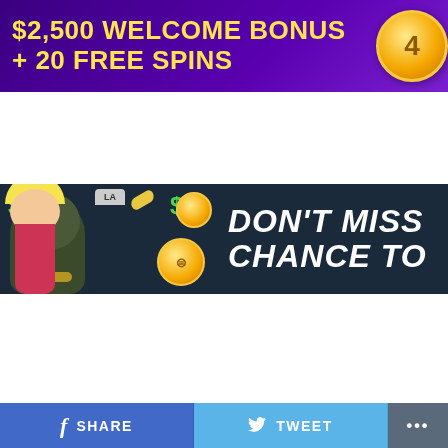[Figure (infographic): Casino welcome bonus banner: '$2,500 WELCOME BONUS + 20 FREE SPINS' in yellow text on purple/dark gradient background with gold coin graphic]
[Figure (infographic): Casino promotional banner with cartoon characters (gorilla with chain, blonde girl), money symbols, gold coins, text 'DON'T MISS CHANCE TO' in white bold italic on dark background]
[Figure (photo): Photo of a person lying on a floor/carpet with a brown/tan pit bull dog licking their face, blonde hair visible]
Tarantino's Latest Effort Will Probably Be His Best
[Figure (infographic): Social sharing bar with Facebook SHARE button (blue), Twitter TWEET button (light blue), and more options (···) button (gray)]